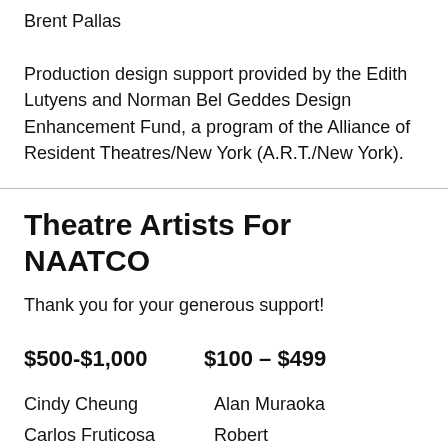Brent Pallas
Production design support provided by the Edith Lutyens and Norman Bel Geddes Design Enhancement Fund, a program of the Alliance of Resident Theatres/New York (A.R.T./New York).
Theatre Artists For NAATCO
Thank you for your generous support!
$500-$1,000    $100 – $499
Cindy Cheung    Alan Muraoka
Carlos Fruticoso...    Robert...